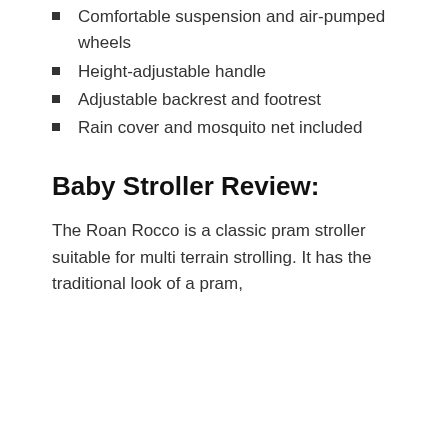Comfortable suspension and air-pumped wheels
Height-adjustable handle
Adjustable backrest and footrest
Rain cover and mosquito net included
Baby Stroller Review:
The Roan Rocco is a classic pram stroller suitable for multi terrain strolling. It has the traditional look of a pram,